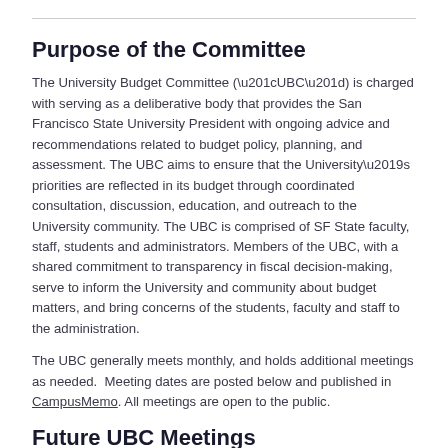Purpose of the Committee
The University Budget Committee (“UBC”) is charged with serving as a deliberative body that provides the San Francisco State University President with ongoing advice and recommendations related to budget policy, planning, and assessment. The UBC aims to ensure that the University’s priorities are reflected in its budget through coordinated consultation, discussion, education, and outreach to the University community. The UBC is comprised of SF State faculty, staff, students and administrators. Members of the UBC, with a shared commitment to transparency in fiscal decision-making, serve to inform the University and community about budget matters, and bring concerns of the students, faculty and staff to the administration.
The UBC generally meets monthly, and holds additional meetings as needed.  Meeting dates are posted below and published in CampusMemo. All meetings are open to the public.
Future UBC Meetings
All UBC meetings are held via Zoom until further notice.